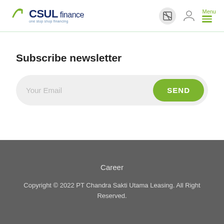CSUL finance — one stop shop financing
Subscribe newsletter
Your Email
SEND
Career
Copyright © 2022 PT Chandra Sakti Utama Leasing. All Right Reserved.